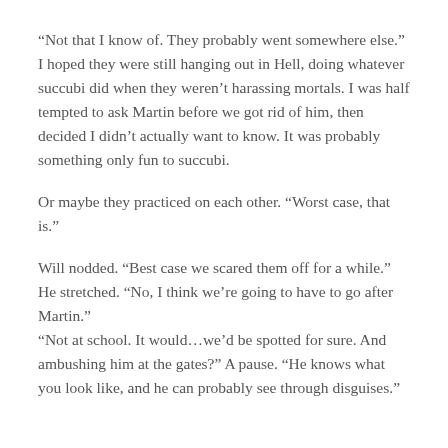“Not that I know of. They probably went somewhere else.” I hoped they were still hanging out in Hell, doing whatever succubi did when they weren’t harassing mortals. I was half tempted to ask Martin before we got rid of him, then decided I didn’t actually want to know. It was probably something only fun to succubi.
Or maybe they practiced on each other. “Worst case, that is.”
Will nodded. “Best case we scared them off for a while.” He stretched. “No, I think we’re going to have to go after Martin.” “Not at school. It would…we’d be spotted for sure. And ambushing him at the gates?” A pause. “He knows what you look like, and he can probably see through disguises.”